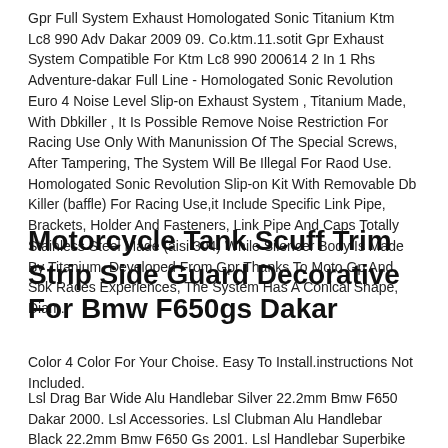Gpr Full System Exhaust Homologated Sonic Titanium Ktm Lc8 990 Adv Dakar 2009 09. Co.ktm.11.sotit Gpr Exhaust System Compatible For Ktm Lc8 990 200614 2 In 1 Rhs Adventure-dakar Full Line - Homologated Sonic Revolution Euro 4 Noise Level Slip-on Exhaust System , Titanium Made, With Dbkiller , It Is Possible Remove Noise Restriction For Racing Use Only With Manunission Of The Special Screws, After Tampering, The System Will Be Illegal For Raod Use. Homologated Sonic Revolution Slip-on Kit With Removable Db Killer (baffle) For Racing Use,it Include Specific Link Pipe, Brackets, Holder And Fasteners, Link Pipe And Caps Totally Stainless Steel Made (aisi 304) While Silencer Body Is Made By Titanium. Developed From Gpr Thanks To Moto Gp And Sbk Races Experiences, The System Has A Conical Shape, Diam.
Motorcycle Tank Scuff Trim Strip Side Guard Decorative For Bmw F650gs Dakar
Color 4 Color For Your Choise. Easy To Install.instructions Not Included.
Lsl Drag Bar Wide Alu Handlebar Silver 22.2mm Bmw F650 Dakar 2000. Lsl Accessories. Lsl Clubman Alu Handlebar Black 22.2mm Bmw F650 Gs 2001. Lsl Handlebar Superbike Conversion Kit Bmw R1100s Abs 2004. Lsl Handlebar Superbike Conversion Kit Bmw R1100s Abs 2001. Lsl Handlebar